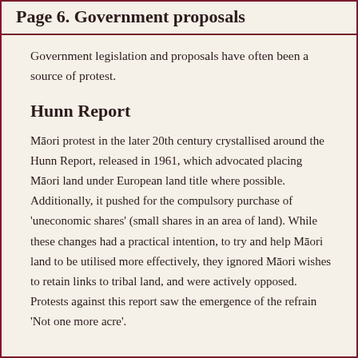Page 6. Government proposals
Government legislation and proposals have often been a source of protest.
Hunn Report
Māori protest in the later 20th century crystallised around the Hunn Report, released in 1961, which advocated placing Māori land under European land title where possible. Additionally, it pushed for the compulsory purchase of ‘uneconomic shares’ (small shares in an area of land). While these changes had a practical intention, to try and help Māori land to be utilised more effectively, they ignored Māori wishes to retain links to tribal land, and were actively opposed. Protests against this report saw the emergence of the refrain ‘Not one more acre’.